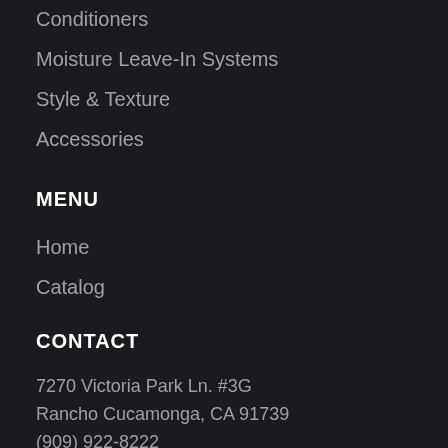Conditioners
Moisture Leave-In Systems
Style & Texture
Accessories
MENU
Home
Catalog
CONTACT
7270 Victoria Park Ln. #3G
Rancho Cucamonga, CA 91739
(909) 922-8222